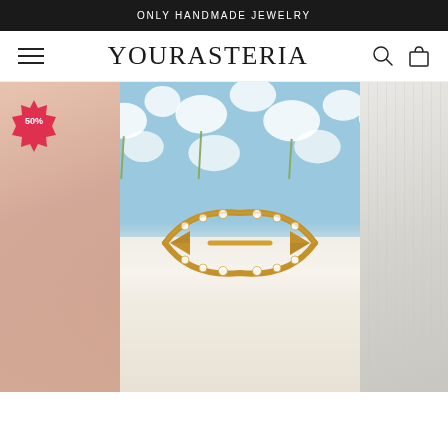ONLY HANDMADE JEWELRY
YOURASTERIA
[Figure (photo): E-commerce jewelry website screenshot showing the Yourasteria brand. Header with hamburger menu on left, brand name YOURASTERIA in center, search and cart icons on right. Main hero image shows a gold arrow ring with diamonds/crystals set on a white fluffy surface with blue sky and white flowers in background. Left side shows partial blurred beige/pink product image with a 50% off sale badge. Right side shows partial gray/white product image.]